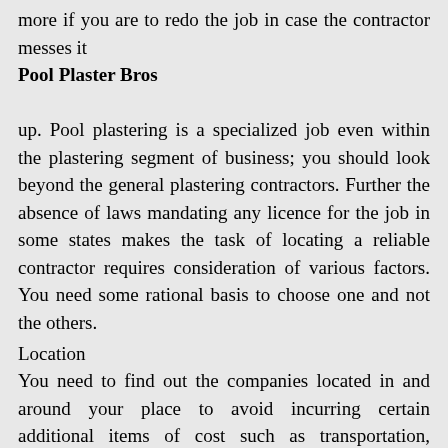more if you are to redo the job in case the contractor messes it up. Pool plastering is a specialized job even within the plastering segment of business; you should look beyond the general plastering contractors. Further the absence of laws mandating any licence for the job in some states makes the task of locating a reliable contractor requires consideration of various factors. You need some rational basis to choose one and not the others.
Pool Plaster Bros
Location
You need to find out the companies located in and around your place to avoid incurring certain additional items of cost such as transportation, boarding lodging etc. In case of need, a personal visit by you to their office would be easy.
An oft accessed source is the internet as most often almost all contractors worth the name do have a web site giving all the relevant information. It is also easier for you to sit in one place and collect data and compare. The local newspapers have classified advertisements section which can provide some information. More than anything else, you ask around in the swimming pools in your area. The managers of the local gyms and club-houses could be another source.
Sources
There are organizations and associations which often act as the